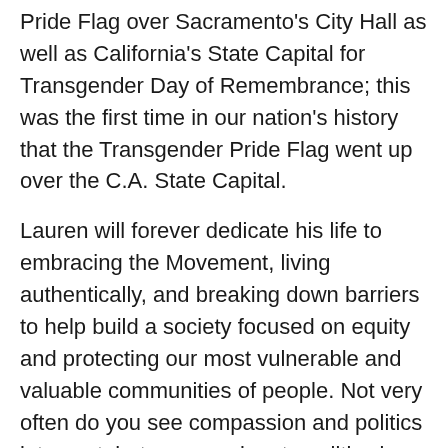Pride Flag over Sacramento's City Hall as well as California's State Capital for Transgender Day of Remembrance; this was the first time in our nation's history that the Transgender Pride Flag went up over the C.A. State Capital.
Lauren will forever dedicate his life to embracing the Movement, living authentically, and breaking down barriers to help build a society focused on equity and protecting our most vulnerable and valuable communities of people. Not very often do you see compassion and politics intersect, but compassionate politics is what fuels Lauren's life.
He's very close to his mother, Tammy Chance, and grandmother JoAnn Chance, and says they are his inspiration. "Without these two women, I would not even be half the person I am today," he said. "The strength, generosity, selflessness, and ever-loving spirit of these two wonderful women never ceases to amaze me. Their loving embrace and genuine purity are obvious, and they show it